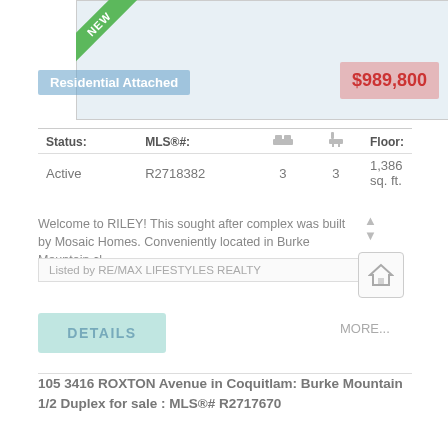[Figure (photo): Listing property photo placeholder with NEW ribbon in top-left corner]
Residential Attached
$989,800
| Status: | MLS®#: | 🛏 | 🚿 | Floor: |
| --- | --- | --- | --- | --- |
| Active | R2718382 | 3 | 3 | 1,386 sq. ft. |
Welcome to RILEY! This sought after complex was built by Mosaic Homes. Conveniently located in Burke Mountain cl...
Listed by RE/MAX LIFESTYLES REALTY
DETAILS
MORE...
105 3416 ROXTON Avenue in Coquitlam: Burke Mountain 1/2 Duplex for sale : MLS®# R2717670